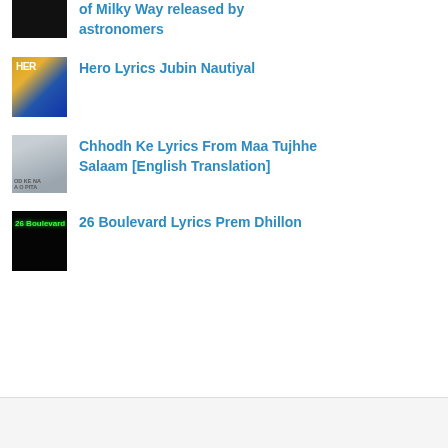of Milky Way released by astronomers
Hero Lyrics Jubin Nautiyal
Chhodh Ke Lyrics From Maa Tujhhe Salaam [English Translation]
26 Boulevard Lyrics Prem Dhillon